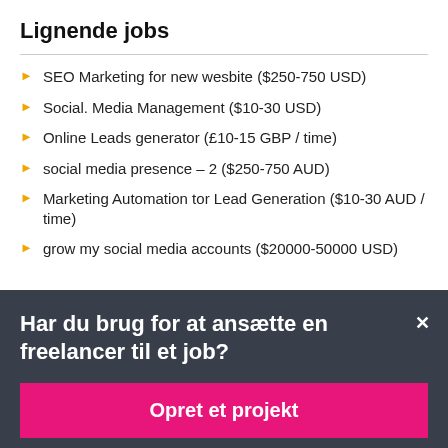Lignende jobs
SEO Marketing for new wesbite ($250-750 USD)
Social. Media Management ($10-30 USD)
Online Leads generator (£10-15 GBP / time)
social media presence – 2 ($250-750 AUD)
Marketing Automation tor Lead Generation ($10-30 AUD / time)
grow my social media accounts ($20000-50000 USD)
Har du brug for at ansætte en freelancer til et job?
Opret et projekt